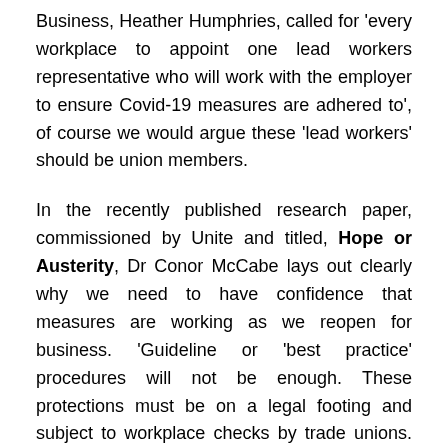Business, Heather Humphries, called for 'every workplace to appoint one lead workers representative who will work with the employer to ensure Covid-19 measures are adhered to', of course we would argue these 'lead workers' should be union members.
In the recently published research paper, commissioned by Unite and titled, Hope or Austerity, Dr Conor McCabe lays out clearly why we need to have confidence that measures are working as we reopen for business. 'Guideline or 'best practice' procedures will not be enough. These protections must be on a legal footing and subject to workplace checks by trade unions. This is to ensure that our members are protected, and that employers adhere to the regulations'.
As the Hospitality & Tourism industry returns and rebuilds